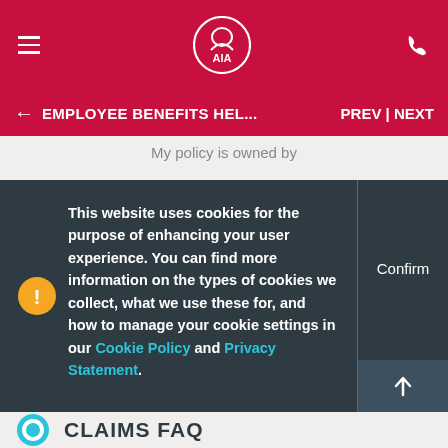AIA - Employee Benefits Help
← EMPLOYEE BENEFITS HEL...   PREV | NEXT
My policy is owned by
This website uses cookies for the purpose of enhancing your user experience. You can find more information on the types of cookies we collect, what we use these for, and how to manage your cookie settings in our Cookie Policy and Privacy Statement.
Confirm
CLAIMS FAQ